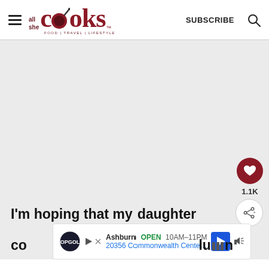all she cooks — FOOD | TRAVEL | LIFESTYLE — SUBSCRIBE
[Figure (screenshot): Large blank/gray image area placeholder in the middle of the webpage]
I'm hoping that my daughter
[Figure (infographic): Ad bar overlay: Topgolf Ashburn OPEN 10AM-11PM 20356 Commonwealth Center...]